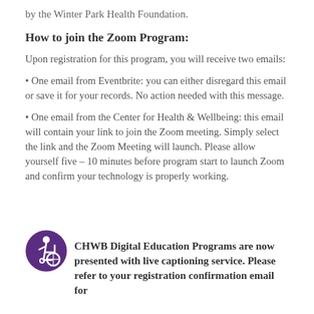by the Winter Park Health Foundation.
How to join the Zoom Program:
Upon registration for this program, you will receive two emails:
• One email from Eventbrite: you can either disregard this email or save it for your records. No action needed with this message.
• One email from the Center for Health & Wellbeing: this email will contain your link to join the Zoom meeting. Simply select the link and the Zoom Meeting will launch. Please allow yourself five – 10 minutes before program start to launch Zoom and confirm your technology is properly working.
CHWB Digital Education Programs are now presented with live captioning service. Please refer to your registration confirmation email for